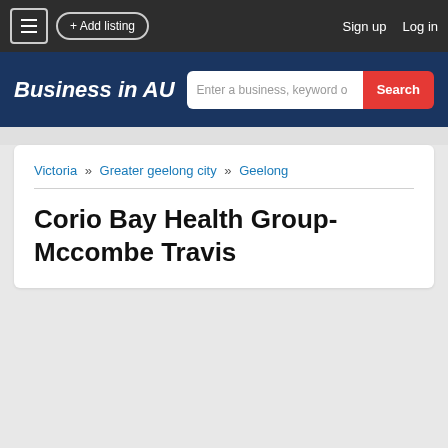+ Add listing   Sign up   Log in
Business in AU
Victoria » Greater geelong city » Geelong
Corio Bay Health Group-Mccombe Travis